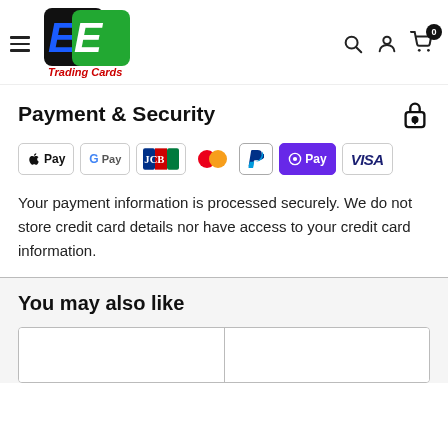[Figure (logo): EE Trading Cards logo with hamburger menu and navigation icons]
Payment & Security
[Figure (infographic): Payment method badges: Apple Pay, Google Pay, JCB, Mastercard, PayPal, OPay, VISA]
Your payment information is processed securely. We do not store credit card details nor have access to your credit card information.
You may also like